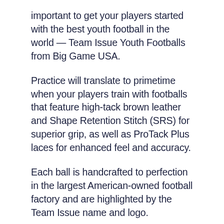important to get your players started with the best youth football in the world — Team Issue Youth Footballs from Big Game USA.
Practice will translate to primetime when your players train with footballs that feature high-tack brown leather and Shape Retention Stitch (SRS) for superior grip, as well as ProTack Plus laces for enhanced feel and accuracy.
Each ball is handcrafted to perfection in the largest American-owned football factory and are highlighted by the Team Issue name and logo.
This Team Issue Official Youth Football is made to the same quality standards that are followed for college and high school footballs, only smaller. With different color options, these team colors can match your